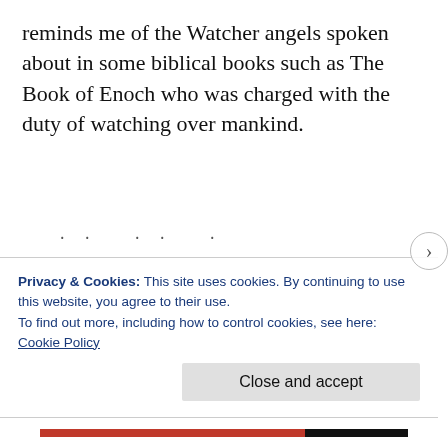reminds me of the Watcher angels spoken about in some biblical books such as The Book of Enoch who was charged with the duty of watching over mankind.
This is a fiction novel but I actually do believe there is a parallel universe we cannot see, a spiritual world, alongside our physical one. I believe there are things that happen on the physical but also the
Privacy & Cookies: This site uses cookies. By continuing to use this website, you agree to their use.
To find out more, including how to control cookies, see here: Cookie Policy